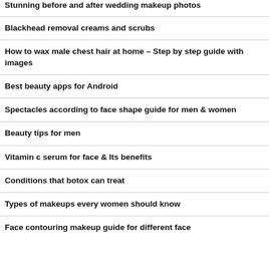Stunning before and after wedding makeup photos
Blackhead removal creams and scrubs
How to wax male chest hair at home – Step by step guide with images
Best beauty apps for Android
Spectacles according to face shape guide for men & women
Beauty tips for men
Vitamin c serum for face & Its benefits
Conditions that botox can treat
Types of makeups every women should know
Face contouring makeup guide for different face